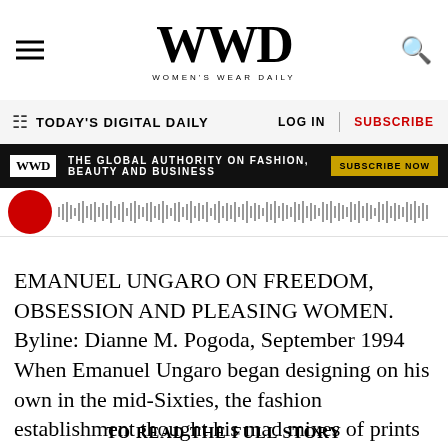WWD WOMEN'S WEAR DAILY
TODAY'S DIGITAL DAILY   LOG IN   SUBSCRIBE
[Figure (infographic): WWD black ad banner: THE GLOBAL AUTHORITY ON FASHION, BEAUTY AND BUSINESS with SUBSCRIBE NOW button]
[Figure (other): Podcast player bar with red circle icon and audio waveform]
EMANUEL UNGARO ON FREEDOM, OBSESSION AND PLEASING WOMEN. Byline: Dianne M. Pogoda, September 1994 When Emanuel Ungaro began designing on his own in the mid-Sixties, the fashion establishment thought his mad mixes of prints were off the wall. Today, he sits on top of a $250 million fashion empire, one of the few couturiers who still owns ...
TO READ THE FULL STORY